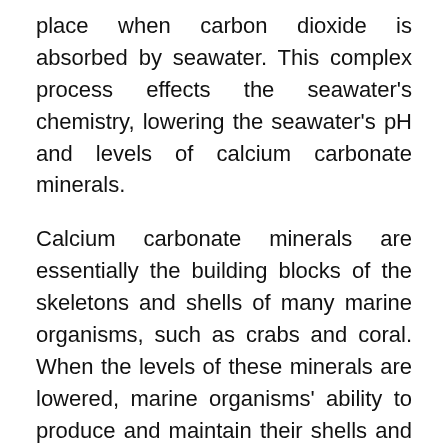place when carbon dioxide is absorbed by seawater. This complex process effects the seawater's chemistry, lowering the seawater's pH and levels of calcium carbonate minerals.
Calcium carbonate minerals are essentially the building blocks of the skeletons and shells of many marine organisms, such as crabs and coral. When the levels of these minerals are lowered, marine organisms' ability to produce and maintain their shells and skeletons are greatly impacted.
“If the crabs are affected already, we really